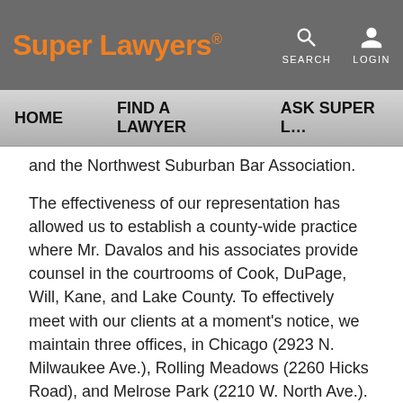Super Lawyers | HOME | FIND A LAWYER | ASK SUPER LAWYERS
and the Northwest Suburban Bar Association.
The effectiveness of our representation has allowed us to establish a county-wide practice where Mr. Davalos and his associates provide counsel in the courtrooms of Cook, DuPage, Will, Kane, and Lake County. To effectively meet with our clients at a moment's notice, we maintain three offices, in Chicago (2923 N. Milwaukee Ave.), Rolling Meadows (2260 Hicks Road), and Melrose Park (2210 W. North Ave.). Las Oficinas del Abogado Carlos H. Davalos representan clientes sobre casos de Defensa Criminal y Abogados de DUI y Trafico. Somos Abogados en Chicago con una oficina